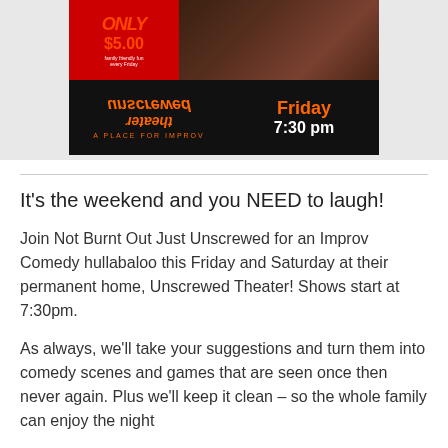[Figure (photo): Unscrewed Theater promotional poster showing group photo of performers at top, with red/orange text reading 'ONLY $5.00' on left, and bottom section showing 'unscrewed theater' in upside-down orange text, 'A PLACE FOR IMPROV', and 'Friday 7:30 pm' in orange on black background]
It’s the weekend and you NEED to laugh!
Join Not Burnt Out Just Unscrewed for an Improv Comedy hullabaloo this Friday and Saturday at their permanent home, Unscrewed Theater! Shows start at 7:30pm.
As always, we’ll take your suggestions and turn them into comedy scenes and games that are seen once then never again. Plus we’ll keep it clean – so the whole family can enjoy the night